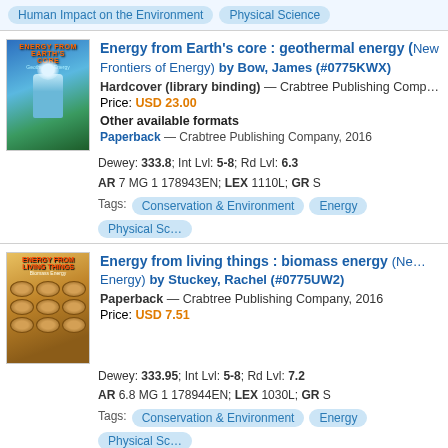Human Impact on the Environment   Physical Science
[Figure (illustration): Book cover: Energy from Earth's Core, geothermal energy, showing a geyser]
Energy from Earth's core : geothermal energy (New Frontiers of Energy) by Bow, James (#0775KWX)
Hardcover (library binding) — Crabtree Publishing Company
Price: USD 23.00
Other available formats
Paperback — Crabtree Publishing Company, 2016
Dewey: 333.8; Int Lvl: 5-8; Rd Lvl: 6.3
AR 7 MG 1 178943EN; LEX 1110L; GR S
Tags: Conservation & Environment   Energy   Physical Sc...
[Figure (illustration): Book cover: Energy from Living Things, biomass energy, showing stacked logs]
Energy from living things : biomass energy (New Frontiers of Energy) by Stuckey, Rachel (#0775UW2)
Paperback — Crabtree Publishing Company, 2016
Price: USD 7.51
Dewey: 333.95; Int Lvl: 5-8; Rd Lvl: 7.2
AR 6.8 MG 1 178944EN; LEX 1030L; GR S
Tags: Conservation & Environment   Energy   Physical Sc...
[Figure (illustration): Book cover: Understanding kinetic energy (Mastering Physics series)]
Understanding kinetic energy (Mastering Physics...) Kristen (#0919RS5)